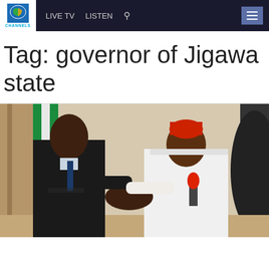CHANNELS  LIVE TV  LISTEN
Tag: governor of Jigawa state
[Figure (photo): Two men shaking hands indoors. The man on the left wears a dark suit and tie. The man on the right wears a white traditional Nigerian outfit and a red cap, and holds a red microphone. A Nigerian flag is partially visible in the background.]